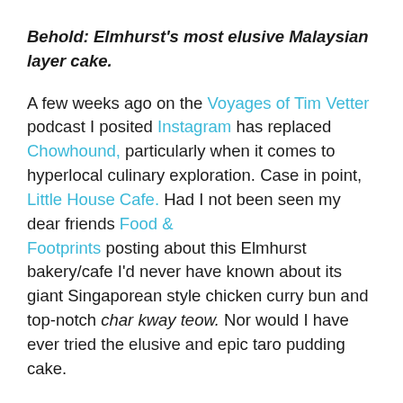Behold: Elmhurst's most elusive Malaysian layer cake.
A few weeks ago on the Voyages of Tim Vetter podcast I posited Instagram has replaced Chowhound, particularly when it comes to hyperlocal culinary exploration. Case in point, Little House Cafe. Had I not been seen my dear friends Food & Footprints posting about this Elmhurst bakery/cafe I'd never have known about its giant Singaporean style chicken curry bun and top-notch char kway teow. Nor would I have ever tried the elusive and epic taro pudding cake.
My friends and I first spotted the multilayer creation lined up in the pastry case and didn't have the appetite for it because we'd just dispatched the aforementioned giant curry chicken bun along with several pieces of Malaysian brown sugar sponge cake